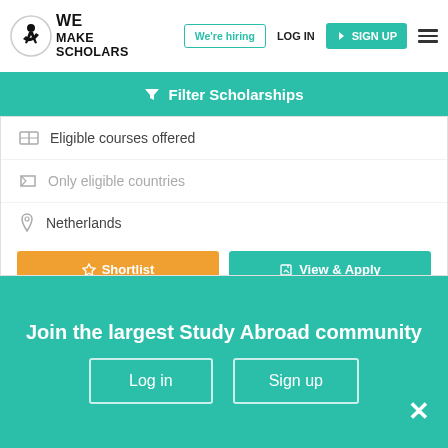[Figure (logo): WE MAKE SCHOLARS logo with acrobat silhouette]
We're hiring
LOG IN
SIGN UP
Filter Scholarships
Eligible courses offered
Only eligible countries
Netherlands
Shortlist
View & Apply
Update your status of this scholarship
Applied
Admitted
Denied
Join the largest Study Abroad community
Log in
Sign up